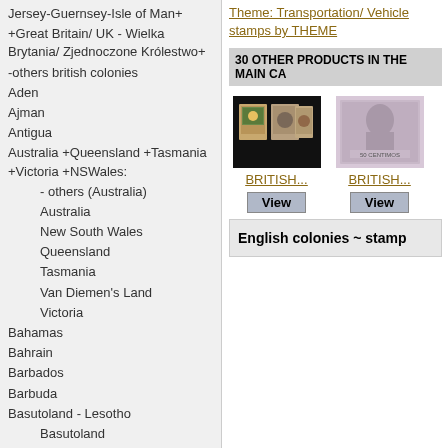Jersey-Guernsey-Isle of Man+
+Great Britain/ UK - Wielka Brytania/ Zjednoczone Królestwo+
-others british colonies
Aden
Ajman
Antigua
Australia +Queensland +Tasmania +Victoria +NSWales:
- others (Australia)
Australia
New South Wales
Queensland
Tasmania
Van Diemen's Land
Victoria
Bahamas
Bahrain
Barbados
Barbuda
Basutoland - Lesotho
Basutoland
Lesotho
BCA +British South Africa Co. +Sth&Nth Rhodesia +Nyasaland
British Central Africa
British South Africa
Theme: Transportation/ Vehicle stamps by THEME
30 OTHER PRODUCTS IN THE MAIN CA...
[Figure (photo): Two stamp images - British colonial stamps]
BRITISH...
BRITISH...
English colonies ~ stamp...